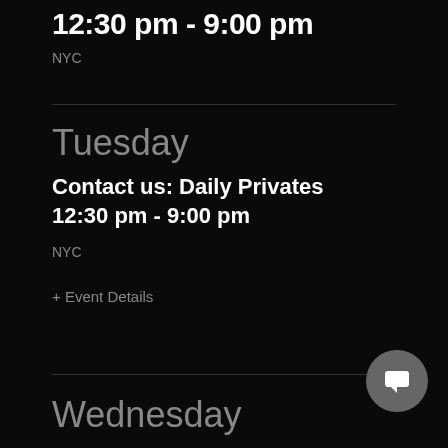12:30 pm - 9:00 pm
NYC
Tuesday
Contact us: Daily Privates
12:30 pm - 9:00 pm
NYC
+ Event Details
Wednesday